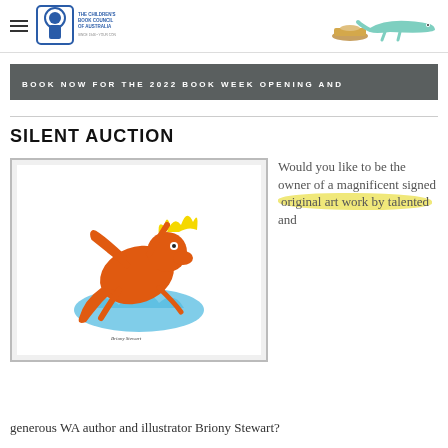The Children's Book Council of Australia
BOOK NOW FOR THE 2022 BOOK WEEK OPENING AND
SILENT AUCTION
[Figure (photo): Framed original artwork showing an orange dragon-like creature with yellow flame on a white background, in a grey frame]
Would you like to be the owner of a magnificent signed original art work by talented and
generous WA author and illustrator Briony Stewart?